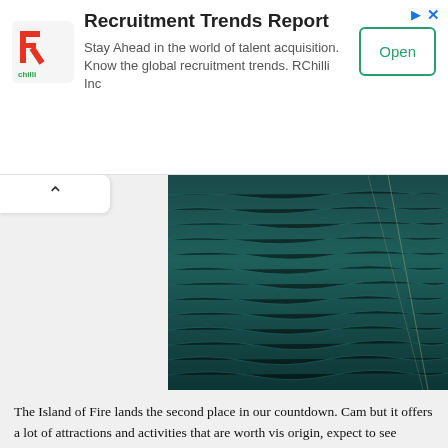[Figure (other): Advertisement banner for RChilli Recruitment Trends Report with logo, text, and Open button]
[Figure (photo): Aerial or close-up photograph of dark teal/green ocean water with rippling waves and a faint fishing line visible]
The Island of Fire lands the second place in our countdown. Cam but it offers a lot of attractions and activities that are worth vis origin, expect to see numerous hot (and cold) spring resorts, the Soda Spring (and nope, the spring doesn't taste like soda). There the Katibawasan Falls.